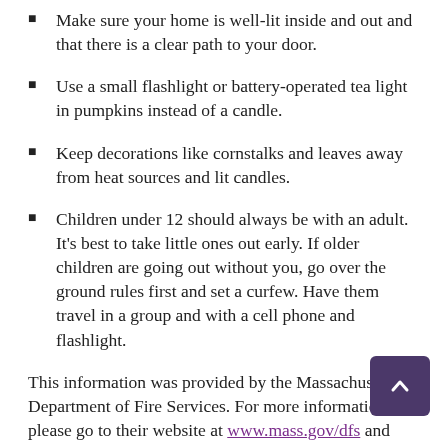Make sure your home is well-lit inside and out and that there is a clear path to your door.
Use a small flashlight or battery-operated tea light in pumpkins instead of a candle.
Keep decorations like cornstalks and leaves away from heat sources and lit candles.
Children under 12 should always be with an adult. It's best to take little ones out early. If older children are going out without you, go over the ground rules first and set a curfew. Have them travel in a group and with a cell phone and flashlight.
This information was provided by the Massachusetts Department of Fire Services. For more information please go to their website at www.mass.gov/dfs and search on
to their website at www.mass.gov/dfs and search on